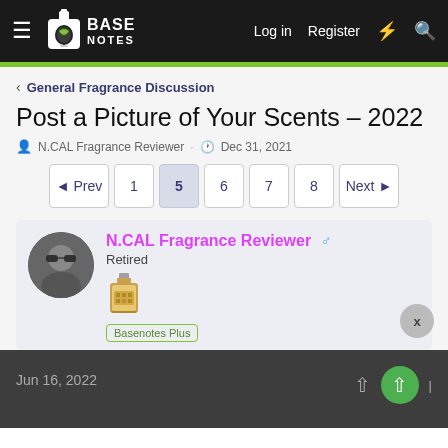BASE NOTES — Log in  Register
< General Fragrance Discussion
Post a Picture of Your Scents - 2022
N.CAL Fragrance Reviewer · Dec 31, 2021
◄ Prev  1  5  6  7  8  Next ►
N.CAL Fragrance Reviewer ♂
Retired
Basenotes Plus
Jun 16, 2022